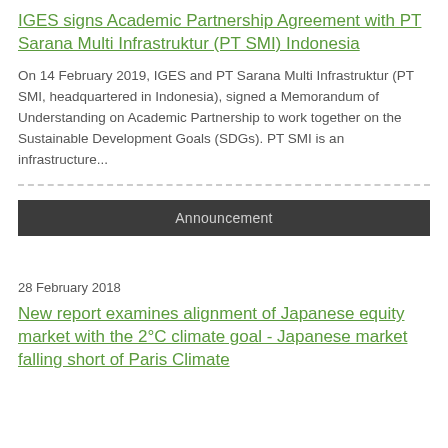IGES signs Academic Partnership Agreement with PT Sarana Multi Infrastruktur (PT SMI) Indonesia
On 14 February 2019, IGES and PT Sarana Multi Infrastruktur (PT SMI, headquartered in Indonesia), signed a Memorandum of Understanding on Academic Partnership to work together on the Sustainable Development Goals (SDGs). PT SMI is an infrastructure...
Announcement
28 February 2018
New report examines alignment of Japanese equity market with the 2°C climate goal - Japanese market falling short of Paris Climate